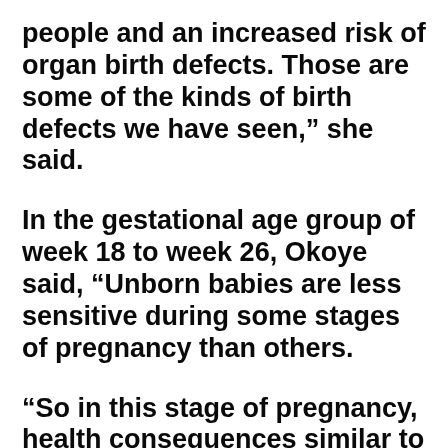people and an increased risk of organ birth defects. Those are some of the kinds of birth defects we have seen,” she said.
In the gestational age group of week 18 to week 26, Okoye said, “Unborn babies are less sensitive during some stages of pregnancy than others.
“So in this stage of pregnancy, health consequences similar to those seen in